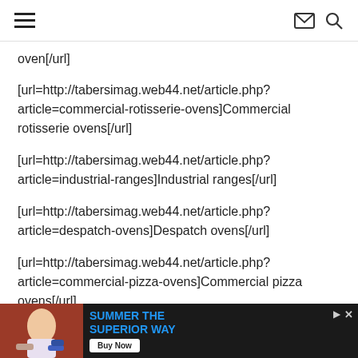navigation header with hamburger menu, email icon, and search icon
oven[/url]
[url=http://tabersimag.web44.net/article.php?article=commercial-rotisserie-ovens]Commercial rotisserie ovens[/url]
[url=http://tabersimag.web44.net/article.php?article=industrial-ranges]Industrial ranges[/url]
[url=http://tabersimag.web44.net/article.php?article=despatch-ovens]Despatch ovens[/url]
[url=http://tabersimag.web44.net/article.php?article=commercial-pizza-ovens]Commercial pizza ovens[/url]
Industrial...
[Figure (photo): Advertisement banner: SUMMER THE SUPERIOR WAY with Buy Now button, photo of people at table with drinks]